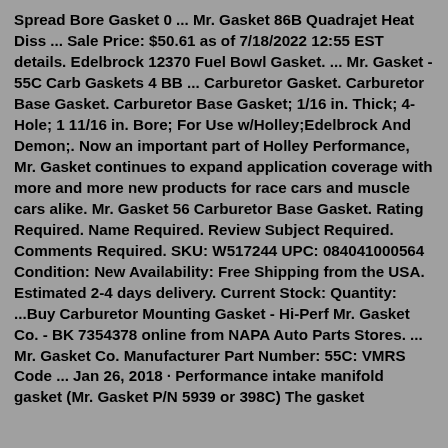Spread Bore Gasket 0 ... Mr. Gasket 86B Quadrajet Heat Diss ... Sale Price: $50.61 as of 7/18/2022 12:55 EST details. Edelbrock 12370 Fuel Bowl Gasket. ... Mr. Gasket - 55C Carb Gaskets 4 BB ... Carburetor Gasket. Carburetor Base Gasket. Carburetor Base Gasket; 1/16 in. Thick; 4-Hole; 1 11/16 in. Bore; For Use w/Holley;Edelbrock And Demon;. Now an important part of Holley Performance, Mr. Gasket continues to expand application coverage with more and more new products for race cars and muscle cars alike. Mr. Gasket 56 Carburetor Base Gasket. Rating Required. Name Required. Review Subject Required. Comments Required. SKU: W517244 UPC: 084041000564 Condition: New Availability: Free Shipping from the USA. Estimated 2-4 days delivery. Current Stock: Quantity: ...Buy Carburetor Mounting Gasket - Hi-Perf Mr. Gasket Co. - BK 7354378 online from NAPA Auto Parts Stores. ... Mr. Gasket Co. Manufacturer Part Number: 55C: VMRS Code ... Jan 26, 2018 · Performance intake manifold gasket (Mr. Gasket P/N 5939 or 398C) The gasket